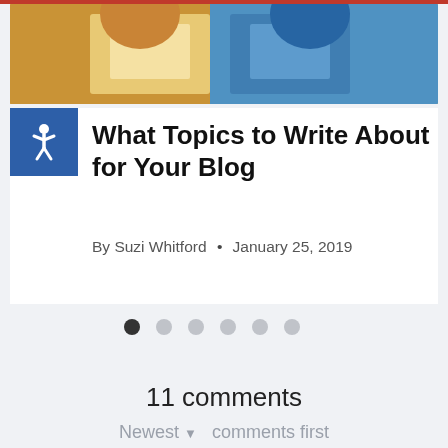[Figure (photo): Two people holding tablets/phones, one in a yellow/orange top and one in a blue jacket, viewed from above/front cropped]
What Topics to Write About for Your Blog
By Suzi Whitford • January 25, 2019
[Figure (infographic): Carousel navigation dots — 6 dots with the first (leftmost) filled dark and the rest light gray]
11 comments
Newest ▼  comments first